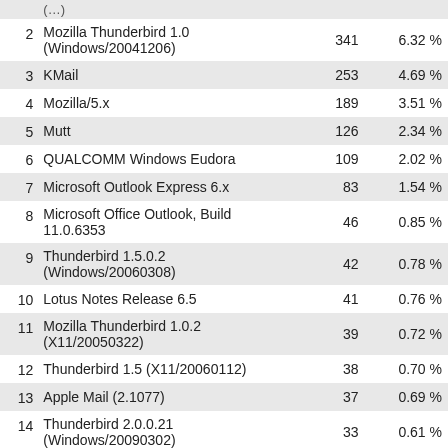| # | Name | Count | Percent |
| --- | --- | --- | --- |
| 2 | Mozilla Thunderbird 1.0 (Windows/20041206) | 341 | 6.32 % |
| 3 | KMail | 253 | 4.69 % |
| 4 | Mozilla/5.x | 189 | 3.51 % |
| 5 | Mutt | 126 | 2.34 % |
| 6 | QUALCOMM Windows Eudora | 109 | 2.02 % |
| 7 | Microsoft Outlook Express 6.x | 83 | 1.54 % |
| 8 | Microsoft Office Outlook, Build 11.0.6353 | 46 | 0.85 % |
| 9 | Thunderbird 1.5.0.2 (Windows/20060308) | 42 | 0.78 % |
| 10 | Lotus Notes Release 6.5 | 41 | 0.76 % |
| 11 | Mozilla Thunderbird 1.0.2 (X11/20050322) | 39 | 0.72 % |
| 12 | Thunderbird 1.5 (X11/20060112) | 38 | 0.70 % |
| 13 | Apple Mail (2.1077) | 37 | 0.69 % |
| 14 | Thunderbird 2.0.0.21 (Windows/20090302) | 33 | 0.61 % |
| 15 | Thunderbird 2.0.0.9 | 31 | 0.57 % |